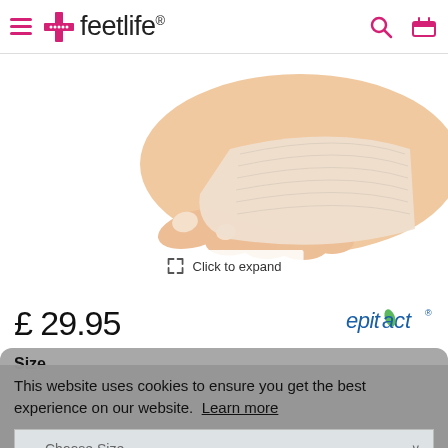feetlife
[Figure (photo): Close-up photo of a human foot wearing a beige/cream fabric metatarsal pad or bunion sleeve protector, covering the ball of the foot and toes]
Click to expand
£29.95
[Figure (logo): Epitact brand logo in blue/green text with a leaf design]
Size
This website uses cookies to ensure you get the best experience on our website. Learn more
— Choose Size —
In Stock
Got it!
Quantity